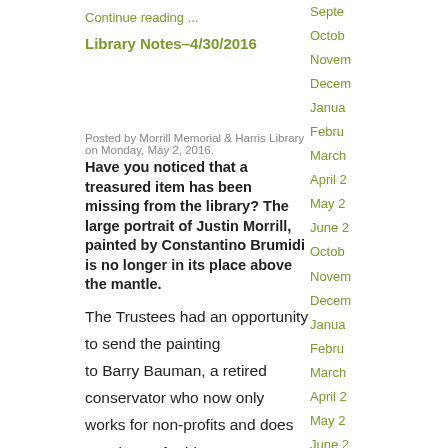Continue reading ...
Library Notes–4/30/2016
Posted by Morrill Memorial & Harris Library on Monday, May 2, 2016.
Have you noticed that a treasured item has been missing from the library? The large portrait of Justin Morrill, painted by Constantino Brumidi is no longer in its place above the mantle.
The Trustees had an opportunity to send the painting to Barry Bauman, a retired conservator who now only works for non-profits and does not charge for his time. He  has worked on other Brumidi paintings and studied at a land grant college, both factors that led him to accept Morrill's portrait for restorati...
Continue reading ...
Septe
Octob
Novem
Decem
Janua
Febru
March
April 2
May 2
June 2
Octob
Novem
Decem
Janua
Febru
March
April 2
May 2
June 2